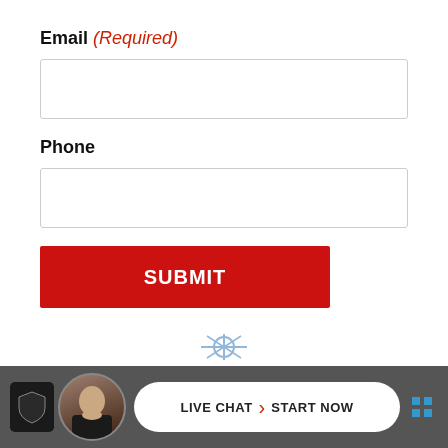Email (Required)
[Figure (screenshot): Empty email input text field with light gray border]
Phone
[Figure (screenshot): Empty phone input text field with light gray border]
SUBMIT
[Figure (screenshot): Live chat bar at bottom with avatar, badge icon, and LIVE CHAT / START NOW button]